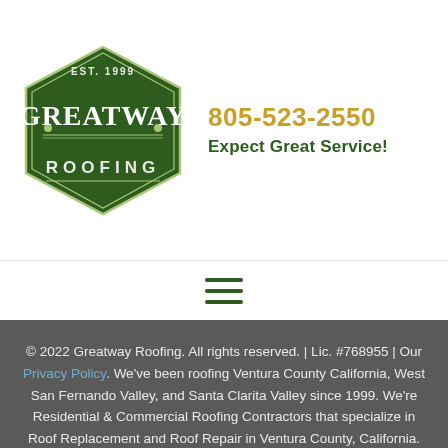[Figure (logo): GreatWay Roofing logo — hexagonal dark green badge with 'EST. 1999' at top, 'GreatWay' in large serif text, 'ROOFING' at bottom, decorative dots and lines.]
805-523-2550
Expect Great Service!
[Figure (other): Hamburger menu icon — three horizontal dark green lines]
© 2022 Greatway Roofing. All rights reserved. | Lic. #768955 | Our Privacy Policy. We've been roofing Ventura County California, West San Fernando Valley, and Santa Clarita Valley since 1999. We're Residential & Commercial Roofing Contractors that specialize in Roof Replacement and Roof Repair in Ventura County, California. In addition to our other roofing services, Roof Inspection and Roof Maintenance are important areas of service.